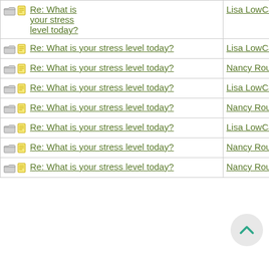| Topic | Author | Date |
| --- | --- | --- |
| Re: What is your stress level today? | Lisa LowCarb | 05/20/13 02:30 AM |
| Re: What is your stress level today? | Lisa LowCarb | 05/20/13 02:38 AM |
| Re: What is your stress level today? | Nancy Roussy | 05/20/13 03:54 AM |
| Re: What is your stress level today? | Lisa LowCarb | 05/22/13 01:44 AM |
| Re: What is your stress level today? | Nancy Roussy | 05/20/13 07:42 PM |
| Re: What is your stress level today? | Lisa LowCarb | 05/22/13 01:47 AM |
| Re: What is your stress level today? | Nancy Roussy | 05/21/13 04:56 PM |
| Re: What is your stress level today? | Nancy Roussy | 05/21/13 04:59 PM |